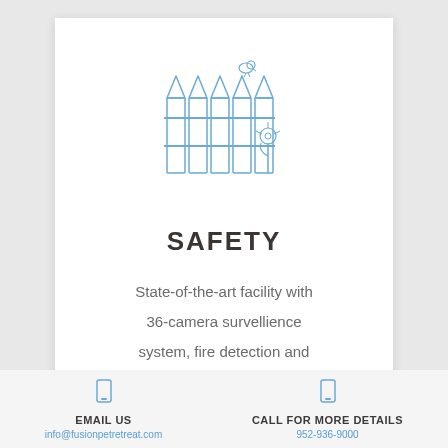[Figure (illustration): Line art illustration of a white picket fence with a bird perched on top and a flower in front, drawn in blue outline style]
SAFETY
State-of-the-art facility with 36-camera survellience system, fire detection and
[Figure (other): Email icon (envelope outline) in light blue]
EMAIL US
info@fusionpetretreat.com
[Figure (other): Phone icon in light blue]
CALL FOR MORE DETAILS
952-936-9000